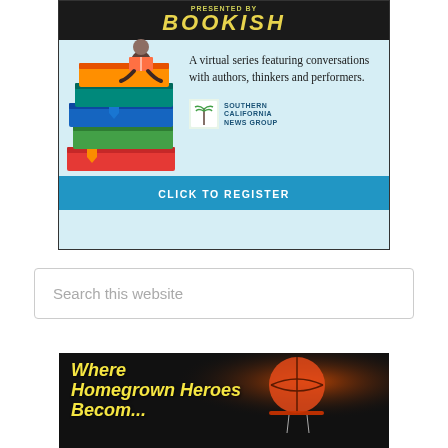[Figure (infographic): BOOKISH virtual series advertisement. Dark header with 'BOOKISH' in yellow italic letters, light blue background with illustrated stacked books and a person reading, text reading 'A virtual series featuring conversations with authors, thinkers and performers.' Southern California News Group logo, and a blue 'CLICK TO REGISTER' CTA button.]
[Figure (infographic): Search box with placeholder text 'Search this website']
[Figure (photo): Basketball going through a hoop with text 'Where Homegrown Heroes Become Legends' in yellow italic bold font on dark background.]